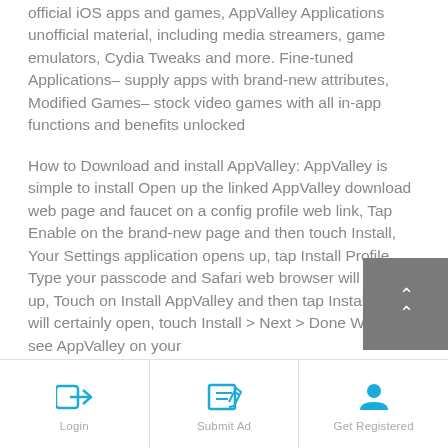official iOS apps and games, AppValley Applications unofficial material, including media streamers, game emulators, Cydia Tweaks and more. Fine-tuned Applications– supply apps with brand-new attributes, Modified Games– stock video games with all in-app functions and benefits unlocked
How to Download and install AppValley: AppValley is simple to install Open up the linked AppValley download web page and faucet on a config profile web link, Tap Enable on the brand-new page and then touch Install, Your Settings application opens up, tap Install Profile, Type your passcode and Safari web browser will open up, Touch on Install AppValley and then tap Install, Setup will certainly open, touch Install > Next > Done When you see AppValley on your
[Figure (other): Gray overlay button with double up-arrow chevron icon]
Login | Submit Ad | Get Registered